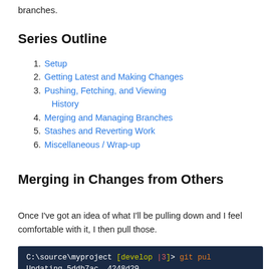branches.
Series Outline
Setup
Getting Latest and Making Changes
Pushing, Fetching, and Viewing History
Merging and Managing Branches
Stashes and Reverting Work
Miscellaneous / Wrap-up
Merging in Changes from Others
Once I've got an idea of what I'll be pulling down and I feel comfortable with it, I then pull those.
C:\source\myproject [develop |3]> git pul
Updating 5ddb7ac..4248d29